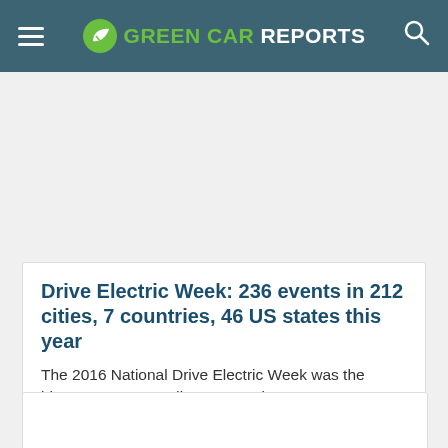GREEN CAR REPORTS
Drive Electric Week: 236 events in 212 cities, 7 countries, 46 US states this year
The 2016 National Drive Electric Week was the biggest ever, according to organizers.
Stephen Edelstein   September 28, 2016